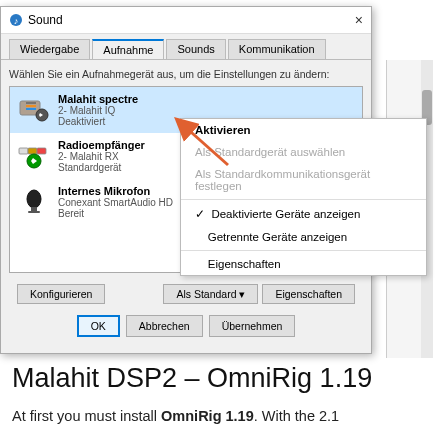[Figure (screenshot): Windows Sound settings dialog showing the Aufnahme (Recording) tab with three devices: Malahit spectre (2-Malahit IQ, Deaktiviert), Radioempfänger (2-Malahit RX, Standardgerät), and Internes Mikrofon (Conexant SmartAudio HD, Bereit). A context menu is visible with options: Aktivieren, Als Standardgerät auswählen, Als Standardkommunikationsgerät festlegen, Deaktivierte Geräte anzeigen (checked), Getrennte Geräte anzeigen, Eigenschaften. An orange arrow points from 'Aktivieren' toward the Malahit spectre device. Bottom buttons: Konfigurieren, Als Standard, Eigenschaften, OK, Abbrechen, Übernehmen.]
Malahit DSP2 – OmniRig 1.19
At first you must install OmniRig 1.19. With the 2.1